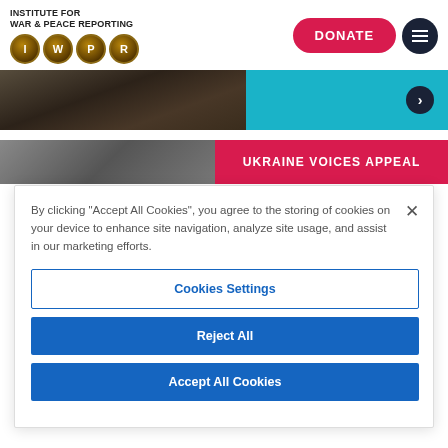[Figure (logo): Institute for War & Peace Reporting logo with IWPR gold circles]
[Figure (screenshot): Donate button (red/pink) and hamburger menu (dark navy circle)]
[Figure (photo): Hero image strip: dark photo of a person on left, teal blue panel on right with a right-arrow circle button]
[Figure (screenshot): Ukraine Voices Appeal banner: dark gray photo left, crimson red label right with white text UKRAINE VOICES APPEAL]
By clicking “Accept All Cookies”, you agree to the storing of cookies on your device to enhance site navigation, analyze site usage, and assist in our marketing efforts.
Cookies Settings
Reject All
Accept All Cookies